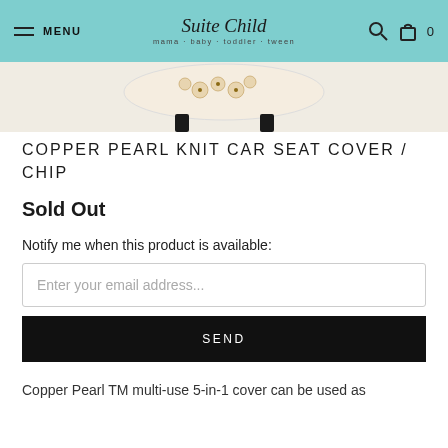MENU | Suite Child | mama · baby · toddler · tween | 0
[Figure (photo): Partial view of a Copper Pearl knit car seat cover with cookie/biscuit pattern, shown on a stand with black legs, against a light background.]
COPPER PEARL KNIT CAR SEAT COVER / CHIP
Sold Out
Notify me when this product is available:
Enter your email address...
SEND
Copper Pearl TM multi-use 5-in-1 cover can be used as